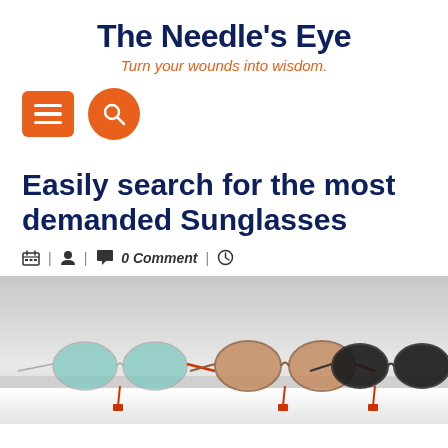The Needle's Eye
Turn your wounds into wisdom.
[Figure (screenshot): Navigation icons: orange square menu icon (hamburger) and orange circle search icon]
Easily search for the most demanded Sunglasses
📅 | 👤 | 💬 0 Comment | 🕐
[Figure (photo): Three pairs of sunglasses displayed on a white shelf: round blue-tinted glasses on the left, round brown-tinted glasses in the center, and round black sunglasses on the right. All have red accents.]